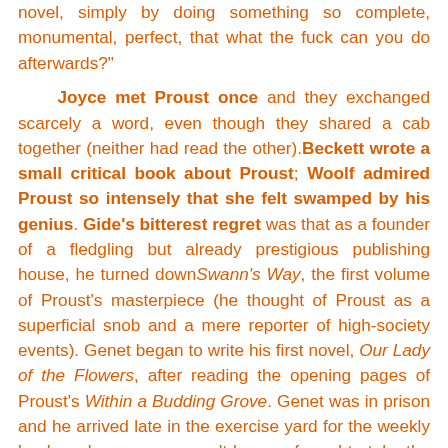novel, simply by doing something so complete, monumental, perfect, that what the fuck can you do afterwards?" Joyce met Proust once and they exchanged scarcely a word, even though they shared a cab together (neither had read the other). Beckett wrote a small critical book about Proust; Woolf admired Proust so intensely that she felt swamped by his genius. Gide's bitterest regret was that as a founder of a fledgling but already prestigious publishing house, he turned down Swann's Way, the first volume of Proust's masterpiece (he thought of Proust as a superficial snob and a mere reporter of high-society events). Genet began to write his first novel, Our Lady of the Flowers, after reading the opening pages of Proust's Within a Budding Grove. Genet was in prison and he arrived late in the exercise yard for the weekly book exchange; as a result he was forced to take the one book all the other prisoners had